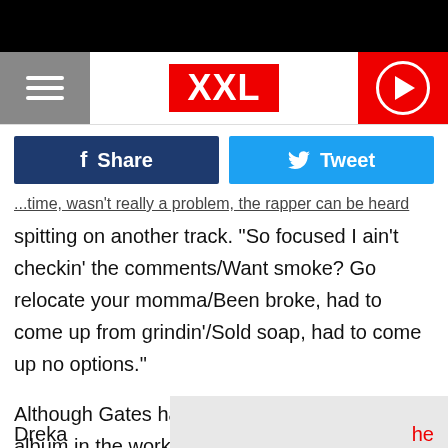XXL
[Figure (other): Facebook Share button and Twitter Tweet button social sharing row]
...time, wasn't really a problem, the rapper can be heard spitting on another track. "So focused I ain't checkin' the comments/Want smoke? Go relocate your momma/Been broke, had to come up from grindin'/Sold soap, had to come up no options."
Although Gates hasn't revealed if he has a new album in the works, earlier this month, his wife Dreka Gates said the rapper has been going "really really hard" in the studio and said fa[obscured]
Dreka